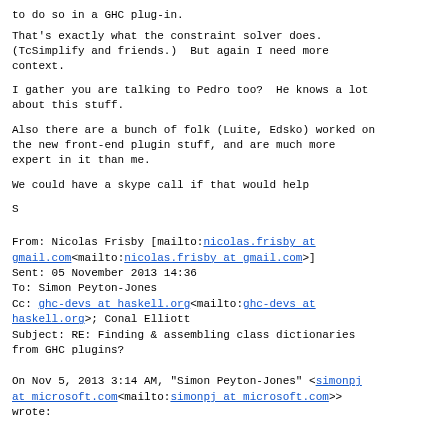to do so in a GHC plug-in.
That's exactly what the constraint solver does. (TcSimplify and friends.) But again I need more context.
I gather you are talking to Pedro too? He knows a lot about this stuff.
Also there are a bunch of folk (Luite, Edsko) worked on the new front-end plugin stuff, and are much more expert in it than me.
We could have a skype call if that would help
S
From: Nicolas Frisby [mailto:nicolas.frisby at gmail.com<mailto:nicolas.frisby at gmail.com>]
Sent: 05 November 2013 14:36
To: Simon Peyton-Jones
Cc: ghc-devs at haskell.org<mailto:ghc-devs at haskell.org>; Conal Elliott
Subject: RE: Finding & assembling class dictionaries from GHC plugins?
On Nov 5, 2013 3:14 AM, "Simon Peyton-Jones" <simonpj at microsoft.com<mailto:simonpj at microsoft.com>> wrote: